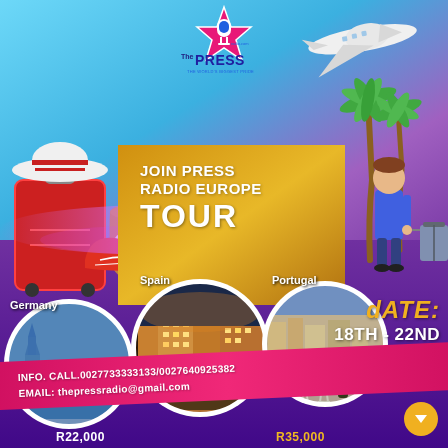[Figure (illustration): Travel promotional flyer with background showing sky, palm trees, airplane, luggage, and a man with suitcase. 'The Press Radio' logo at top center.]
JOIN PRESS RADIO EUROPE TOUR
Germany
Spain
Portugal
dATE: 18TH - 22ND JUNE, 2020
INFO. CALL.0027733333133/0027640925382
EMAIL: thepressradio@gmail.com
R22,000
R35,000